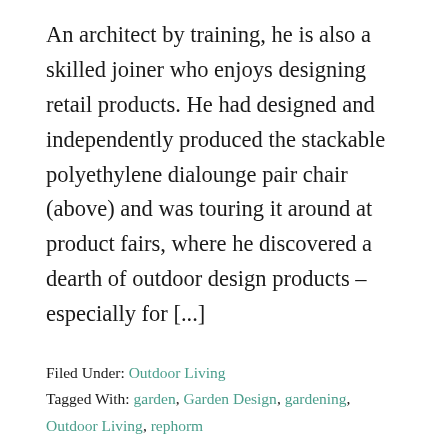An architect by training, he is also a skilled joiner who enjoys designing retail products. He had designed and independently produced the stackable polyethylene dialounge pair chair (above) and was touring it around at product fairs, where he discovered a dearth of outdoor design products – especially for [...]
Filed Under: Outdoor Living
Tagged With: garden, Garden Design, gardening, Outdoor Living, rephorm